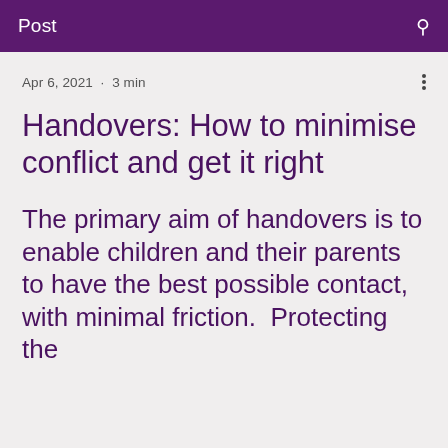Post
Apr 6, 2021 · 3 min
Handovers: How to minimise conflict and get it right
The primary aim of handovers is to enable children and their parents to have the best possible contact, with minimal friction. Protecting the